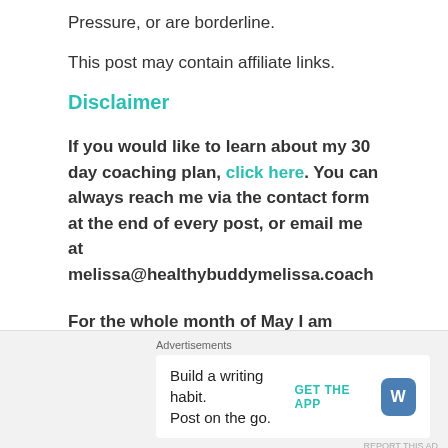Pressure, or are borderline.
This post may contain affiliate links.
Disclaimer
If you would like to learn about my 30 day coaching plan, click here. You can always reach me via the contact form at the end of every post, or email me at melissa@healthybuddymelissa.coach
For the whole month of May I am concentrating on Blood Pressure Awareness. If you have High Blood Pressure, or want to avoid getting it, all members of
Advertisements
Build a writing habit.
Post on the go.
GET THE APP